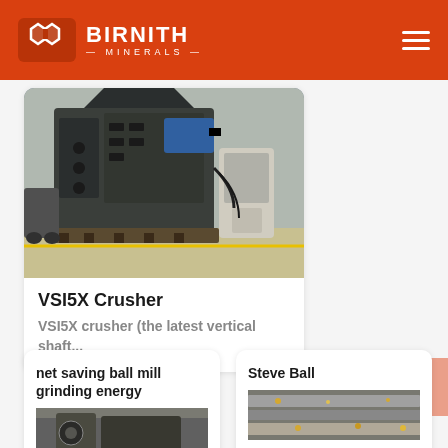BIRNITH MINERALS
[Figure (photo): VSI5X Crusher industrial machine in a warehouse/factory setting, large dark metal machine with blue components and hydraulic lines]
VSI5X Crusher
VSI5X crusher (the latest vertical shaft...
net saving ball mill grinding energy
Steve Ball
[Figure (photo): Ball mill grinding machinery photo, partial view]
[Figure (photo): Steve Ball related industrial machinery photo, partial view]